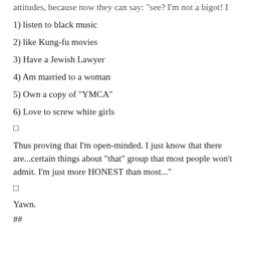attitudes, because now they can say: "see? I'm not a bigot! I
1) listen to black music
2) like Kung-fu movies
3) Have a Jewish Lawyer
4) Am married to a woman
5) Own a copy of "YMCA"
6) Love to screw white girls
□
Thus proving that I'm open-minded. I just know that there are...certain things about "that" group that most people won't admit. I'm just more HONEST than most..."
□
Yawn.
##